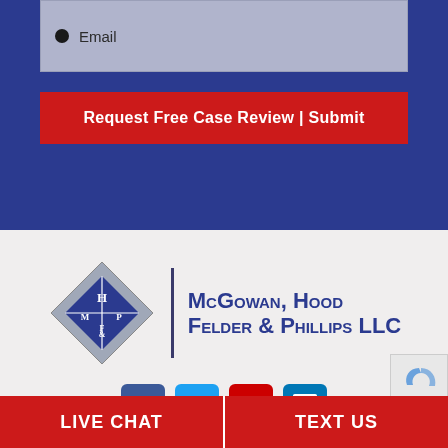Email
Request Free Case Review | Submit
[Figure (logo): McGowan, Hood, Felder & Phillips LLC law firm logo with diamond shape containing M, H&F, P initials and firm name]
[Figure (infographic): Social media icons: Facebook, Twitter, YouTube, LinkedIn]
LIVE CHAT
TEXT US